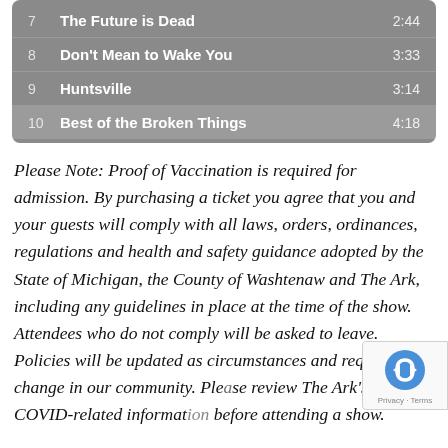| # | Title | Duration |
| --- | --- | --- |
| 7 | The Future is Dead | 2:44 |
| 8 | Don't Mean to Wake You | 3:33 |
| 9 | Huntsville | 3:14 |
| 10 | Best of the Broken Things | 4:18 |
Please Note: Proof of Vaccination is required for admission. By purchasing a ticket you agree that you and your guests will comply with all laws, orders, ordinances, regulations and health and safety guidance adopted by the State of Michigan, the County of Washtenaw and The Ark, including any guidelines in place at the time of the show. Attendees who do not comply will be asked to leave. Policies will be updated as circumstances and requirements change in our community. Please review The Ark's current COVID-related information before attending a show.